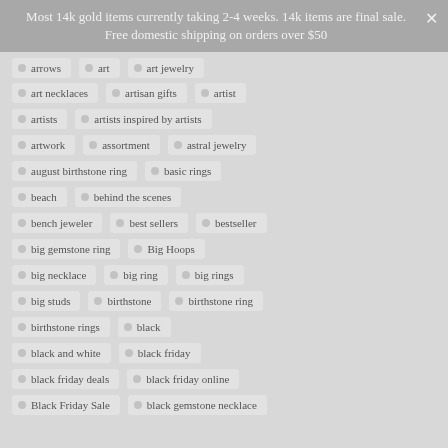Most 14k gold items currently taking 2-4 weeks. 14k items are final sale. Free domestic shipping on orders over $50
arrows
art
art jewelry
art necklaces
artisan gifts
artist
artists
artists inspired by artists
artwork
assortment
astral jewelry
august birthstone ring
basic rings
beach
behind the scenes
bench jeweler
best sellers
bestseller
big gemstone ring
Big Hoops
big necklace
big ring
big rings
big studs
birthstone
birthstone ring
birthstone rings
black
black and white
black friday
black friday deals
black friday online
Black Friday Sale
black gemstone necklace